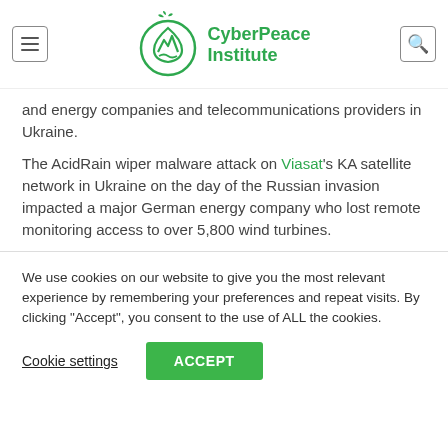CyberPeace Institute
and energy companies and telecommunications providers in Ukraine.
The AcidRain wiper malware attack on Viasat's KA satellite network in Ukraine on the day of the Russian invasion impacted a major German energy company who lost remote monitoring access to over 5,800 wind turbines.
We use cookies on our website to give you the most relevant experience by remembering your preferences and repeat visits. By clicking “Accept”, you consent to the use of ALL the cookies.